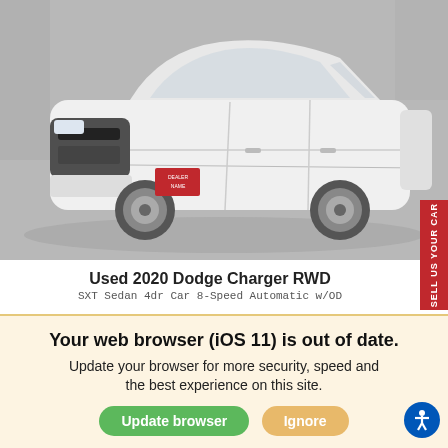[Figure (photo): White 2020 Dodge Charger RWD sedan photographed at a dealership lot, front three-quarter view against a grey background.]
Used 2020 Dodge Charger RWD
SXT Sedan 4dr Car 8-Speed Automatic w/OD
| Retail Price | Sale Price |
| --- | --- |
| $XX,XXX |  |
We use cookies to optimize our website and our
Your web browser (iOS 11) is out of date. Update your browser for more security, speed and the best experience on this site.